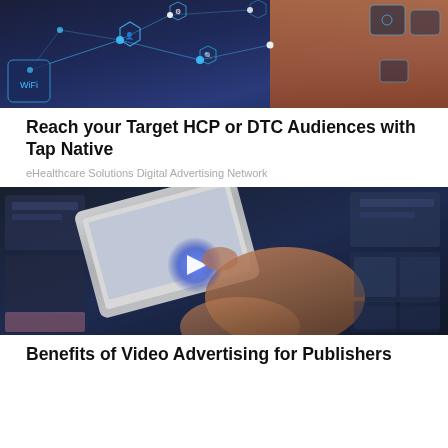[Figure (photo): Network technology visualization with glowing node connections and hexagonal icons on dark blue background, with a person visible on the right side with orange/red lighting]
Reach your Target HCP or DTC Audiences with Tap Native
eHealthcare Solutions Digital Advertising Network
[Figure (photo): Hand touching a tablet or phone screen with a play/arrow button icon, surrounded by blurred content screens in background]
Benefits of Video Advertising for Publishers